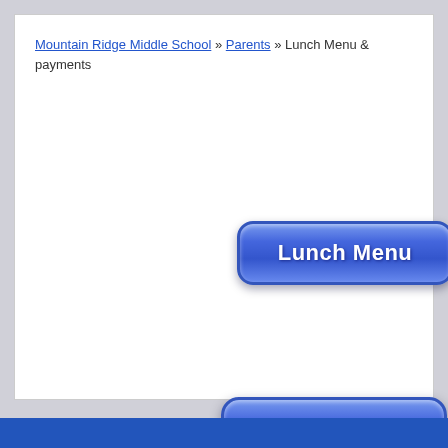Mountain Ridge Middle School » Parents » Lunch Menu & payments
[Figure (screenshot): Blue rounded button labeled 'Lunch Menu']
[Figure (screenshot): Blue rounded button labeled 'Free & Reduced Lunch Application']
[Figure (screenshot): Blue rounded button labeled 'Lunch Payment']